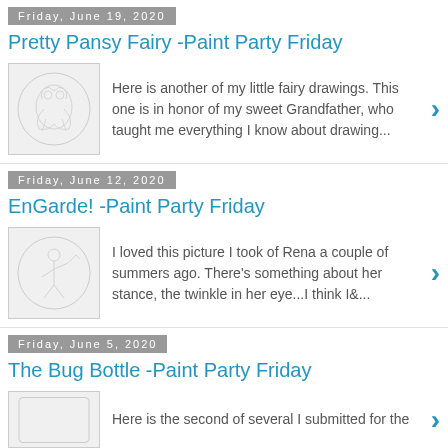Friday, June 19, 2020
Pretty Pansy Fairy -Paint Party Friday
[Figure (illustration): Circular line drawing of a fairy with pansy flowers]
Here is another of my little fairy drawings.  This one is in honor of my sweet Grandfather, who taught me everything I know about drawing...
Friday, June 12, 2020
EnGarde! -Paint Party Friday
[Figure (illustration): Circular line drawing of a figure in a stance]
I loved this picture I took of Rena a couple of summers ago.  There's something about her stance, the twinkle in her eye...I think I&...
Friday, June 5, 2020
The Bug Bottle -Paint Party Friday
Here is the second of several I submitted for the